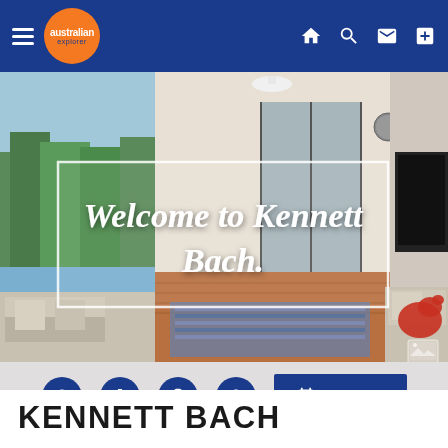australian explorer — navigation bar with home, search, message, and add icons
[Figure (photo): Interior photo of a bright modern living room/holiday home with large windows showing trees and water views, sliding glass doors, timber floors, blue striped rug, and white sofas. Overlaid with a white-bordered box containing the text 'Welcome to Kennett Bach.' in white italic script font.]
[Figure (infographic): Action bar with info (i), settings gear, camera, location pin icons and a blue BOOK button with calendar icon]
KENNETT BACH